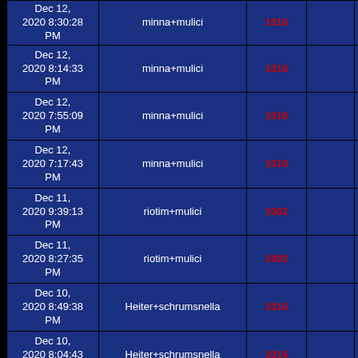| Date | User | ID |  |  |
| --- | --- | --- | --- | --- |
| Dec 12, 2020 8:30:28 PM (partial) | minna+mulici | 1016 (partial) |  |  |
| Dec 12, 2020 8:14:33 PM | minna+mulici | 1016 |  |  |
| Dec 12, 2020 7:55:09 PM | minna+mulici | 1016 |  |  |
| Dec 12, 2020 7:17:43 PM | minna+mulici | 1016 |  |  |
| Dec 11, 2020 9:39:13 PM | riotim+mulici | 1002 |  |  |
| Dec 11, 2020 8:27:35 PM | riotim+mulici | 1002 |  |  |
| Dec 10, 2020 8:49:38 PM | Heiter+schrumsnella | 1016 |  |  |
| Dec 10, 2020 8:04:43 PM | Heiter+schrumsnella | 1016 |  |  |
| Dec 10, 2020 7:31:12 PM | Heiter+jpl8359 | 988 |  |  |
| Dec 9, 2020 8:14:40 PM | minna+Jetho | 1024 |  |  |